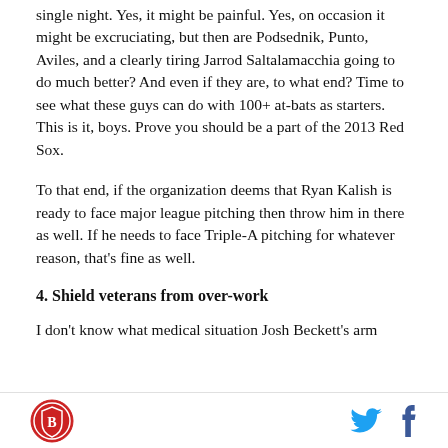single night. Yes, it might be painful. Yes, on occasion it might be excruciating, but then are Podsednik, Punto, Aviles, and a clearly tiring Jarrod Saltalamacchia going to do much better? And even if they are, to what end? Time to see what these guys can do with 100+ at-bats as starters. This is it, boys. Prove you should be a part of the 2013 Red Sox.
To that end, if the organization deems that Ryan Kalish is ready to face major league pitching then throw him in there as well. If he needs to face Triple-A pitching for whatever reason, that's fine as well.
4. Shield veterans from over-work
I don't know what medical situation Josh Beckett's arm...